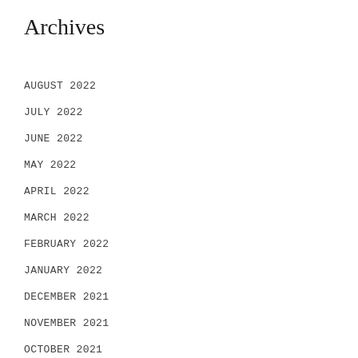Archives
AUGUST 2022
JULY 2022
JUNE 2022
MAY 2022
APRIL 2022
MARCH 2022
FEBRUARY 2022
JANUARY 2022
DECEMBER 2021
NOVEMBER 2021
OCTOBER 2021